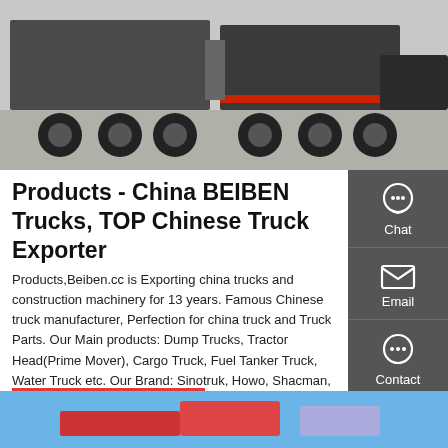[Figure (photo): Row of large commercial trucks parked in a lot, viewed from rear/side angle, gray pavement, overcast sky]
Products - China BEIBEN Trucks, TOP Chinese Truck Exporter
Products,Beiben.cc is Exporting china trucks and construction machinery for 13 years. Famous Chinese truck manufacturer, Perfection for china truck and Truck Parts. Our Main products: Dump Trucks, Tractor Head(Prime Mover), Cargo Truck, Fuel Tanker Truck, Water Truck etc. Our Brand: Sinotruk, Howo, Shacman, Beiben, Faw Jiefang
[Figure (infographic): Sidebar with Chat, Email, and Contact icons on dark gray background]
GET A QUOTE
[Figure (photo): Bottom partial image showing light blue background with truck/vehicle elements]